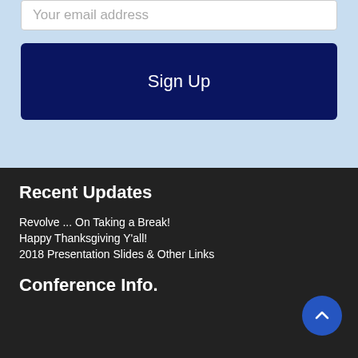Your email address
Sign Up
Recent Updates
Revolve ... On Taking a Break!
Happy Thanksgiving Y'all!
2018 Presentation Slides & Other Links
Conference Info.